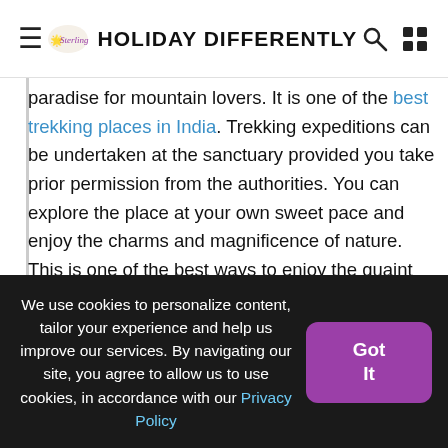HOLIDAY DIFFERENTLY
paradise for mountain lovers. It is one of the best trekking places in India. Trekking expeditions can be undertaken at the sanctuary provided you take prior permission from the authorities. You can explore the place at your own sweet pace and enjoy the charms and magnificence of nature. This is one of the best ways to enjoy the quaint towns and the countryside.
[Figure (photo): Landscape photo showing a green meadow in the foreground with hikers/people sitting, a dense pine forest in the middle ground, and rolling mountain hills in the background under a pale sky.]
We use cookies to personalize content, tailor your experience and help us improve our services. By navigating our site, you agree to allow us to use cookies, in accordance with our Privacy Policy